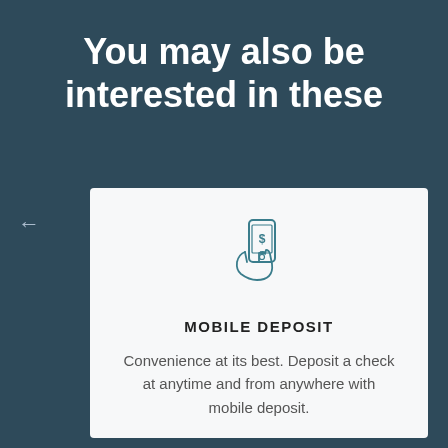You may also be interested in these
[Figure (illustration): Icon of a hand holding a smartphone with a dollar sign on the screen, rendered in teal outline style]
MOBILE DEPOSIT
Convenience at its best. Deposit a check at anytime and from anywhere with mobile deposit.